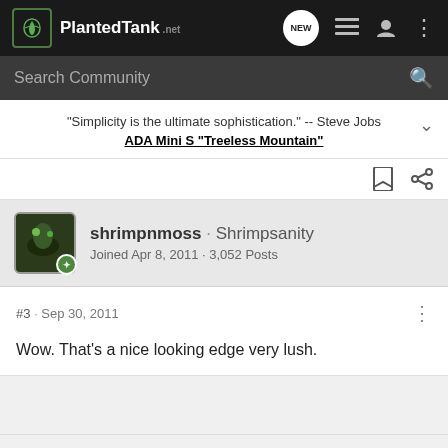Planted Tank
Search Community
"Simplicity is the ultimate sophistication." -- Steve Jobs
ADA Mini S "Treeless Mountain"
shrimpnmoss · Shrimpsanity
Joined Apr 8, 2011 · 3,052 Posts
#3 · Sep 30, 2011
Wow. That's a nice looking edge very lush.